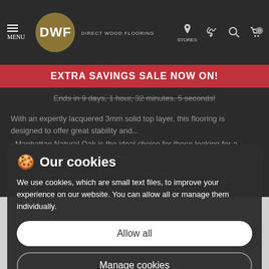DWF Direct Wood Flooring — MENU, STORES, navigation icons
EXTRA SAVINGS SALE NOW ON!
Ends in 9 days, 1 hour, 32 minutes, 5 seconds!
With an expertly lacquered 3mm solid top layer, this flooring is designed to offer great stability and...
Manhattan Natural Oak is the ideal choice for those looking for a classic, beautiful, and high-quality...
at our accessories page, it is fully stocked with products to help you achieve the best results.
Our cookies
We use cookies, which are small text files, to improve your experience on our website. You can allow all or manage them individually.
Allow all
Manage cookies
SPECIFICATIONS